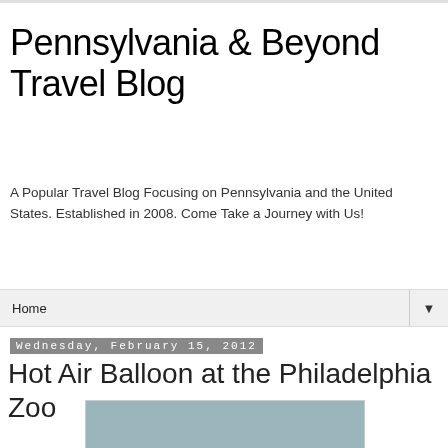Pennsylvania & Beyond Travel Blog
A Popular Travel Blog Focusing on Pennsylvania and the United States. Established in 2008. Come Take a Journey with Us!
Home
Wednesday, February 15, 2012
Hot Air Balloon at the Philadelphia Zoo
[Figure (photo): Photo of hot air balloon at the Philadelphia Zoo, showing a grayish-blue sky background, partially visible at the bottom of the page.]